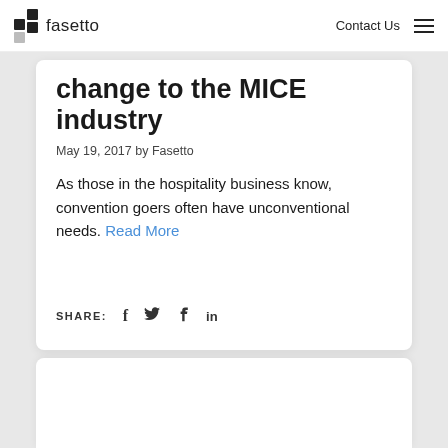fasetto   Contact Us
change to the MICE industry
May 19, 2017 by Fasetto
As those in the hospitality business know, convention goers often have unconventional needs. Read More
SHARE:  f  t  p  in